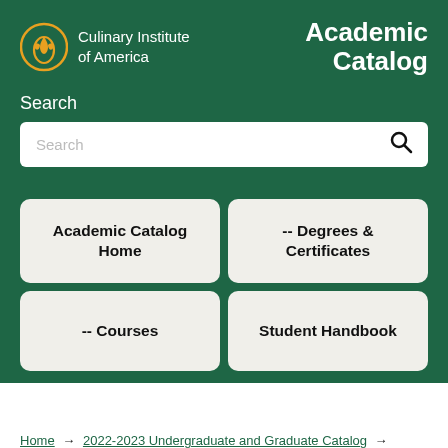[Figure (logo): Culinary Institute of America logo with flame/grain icon in orange and white text]
Academic Catalog
Search
Academic Catalog Home
-- Degrees & Certificates
-- Courses
Student Handbook
Home → 2022-2023 Undergraduate and Graduate Catalog → CIA Financial Aid and Scholarships